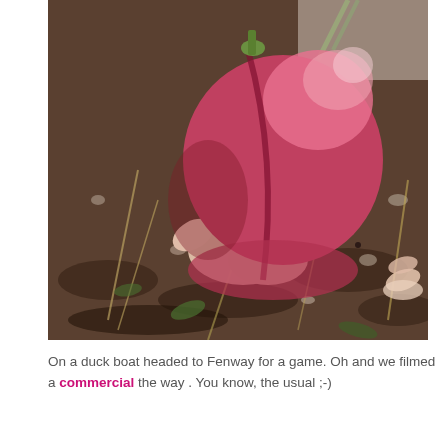[Figure (photo): A close-up photo of a hand holding a large ripe peach or nectarine above a ground covered with dirt, small stones, dry grass, and green leaves. The fruit is deep red-pink with a slight crease and stem visible.]
On a duck boat headed to Fenway for a game. Oh and we filmed a commercial the way . You know, the usual ;-)